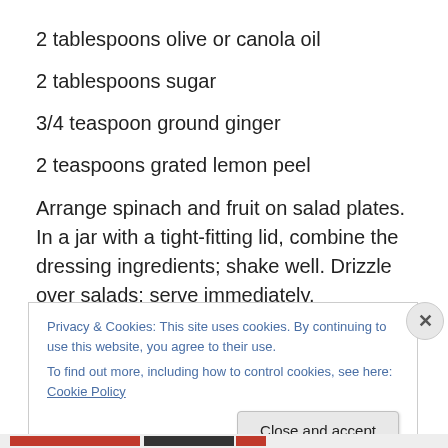2 tablespoons olive or canola oil
2 tablespoons sugar
3/4 teaspoon ground ginger
2 teaspoons grated lemon peel
Arrange spinach and fruit on salad plates. In a jar with a tight-fitting lid, combine the dressing ingredients; shake well. Drizzle over salads; serve immediately.
Privacy & Cookies: This site uses cookies. By continuing to use this website, you agree to their use.
To find out more, including how to control cookies, see here: Cookie Policy